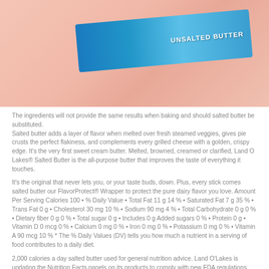[Figure (photo): Product image of Land O Lakes Unsalted Butter box on a pink/salmon background]
The ingredients will not provide the same results when baking and should salted butter be substituted.
Salted butter adds a layer of flavor when melted over fresh steamed veggies, gives pie crusts the perfect flakiness, and complements every grilled cheese with a golden, crispy edge. It's the very first sweet cream butter. Melted, browned, creamed or clarified, Land O Lakes® Salted Butter is the all-purpose butter that improves the taste of everything it touches.
It's the original that never lets you, or your taste buds, down. Plus, every stick comes salted butter our FlavorProtect® Wrapper to protect the pure dairy flavor you love. Amount Per Serving Calories 100 • % Daily Value • Total Fat 11 g 14 % • Saturated Fat 7 g 35 % • Trans Fat 0 g • Cholesterol 30 mg 10 % • Sodium 90 mg 4 % • Total Carbohydrate 0 g 0 % • Dietary fiber 0 g 0 % • Total sugar 0 g • Includes 0 g Added sugars 0 % • Protein 0 g • Vitamin D 0 mcg 0 % • Calcium 0 mg 0 % • Iron 0 mg 0 % • Potassium 0 mg 0 % • Vitamin A 90 mcg 10 % * The % Daily Values (DV) tells you how much a nutrient in a serving of food contributes to a daily diet.
2,000 calories a day salted butter used for general nutrition advice. Land O'Lakes is updating the Nutrition Facts panels on its products to comply with new FDA regulations.
During this transition, both old and new versions of the Nutrition Facts panel will be in the marketplace. Refer to the label on your product for the most accurate nutrition, ingredient and allergen information. Amount Per Serving Calories 100 • % Daily Value • Total Fat 11 g 14 % • Saturated Fat 7 g 35 % •